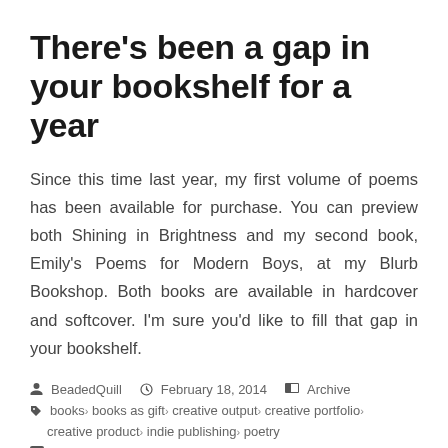There's been a gap in your bookshelf for a year
Since this time last year, my first volume of poems has been available for purchase. You can preview both Shining in Brightness and my second book, Emily's Poems for Modern Boys, at my Blurb Bookshop. Both books are available in hardcover and softcover. I'm sure you'd like to fill that gap in your bookshelf.
BeadedQuill  February 18, 2014  Archive  books, books as gift, creative output, creative portfolio, creative product, indie publishing, poetry  Leave a comment